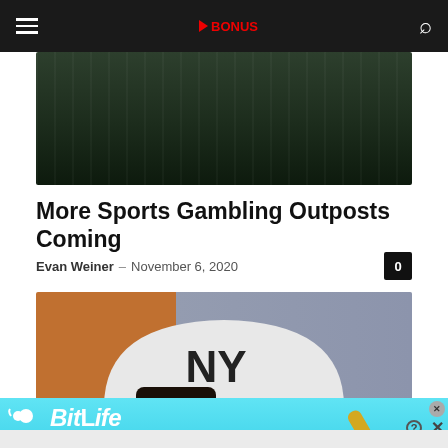Navigation bar with hamburger menu, site logo, and search icon
[Figure (photo): Dark greenish blurred sports arena background image]
More Sports Gambling Outposts Coming
Evan Weiner – November 6, 2020
[Figure (photo): Close-up of person wearing a New York Yankees cap with orange and blurred background]
[Figure (other): BitLife advertisement banner: NOW WITH GOD MODE, with hand pointing gesture]